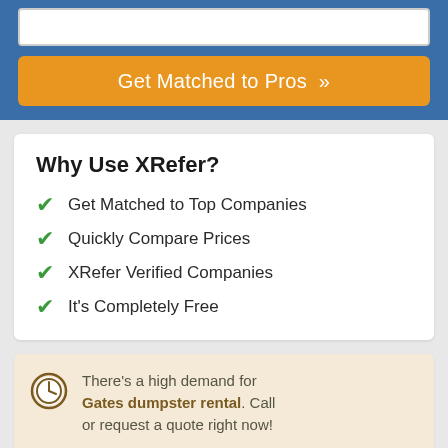[Figure (screenshot): Input text box (white rectangle with border)]
[Figure (screenshot): Orange CTA button with text 'Get Matched to Pros »']
Why Use XRefer?
Get Matched to Top Companies
Quickly Compare Prices
XRefer Verified Companies
It's Completely Free
There's a high demand for Gates dumpster rental. Call or request a quote right now!